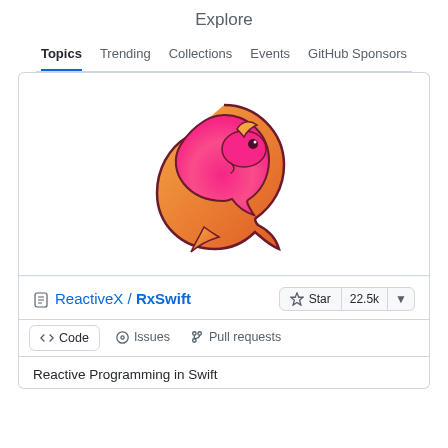Explore
Topics  Trending  Collections  Events  GitHub Sponsors
[Figure (logo): RxSwift logo: a pink and orange snake/axolotl curled in a circle, gradient from pink to orange, forming a yin-yang-like shape]
ReactiveX / RxSwift  Star 22.5k
<> Code  Issues  Pull requests
Reactive Programming in Swift